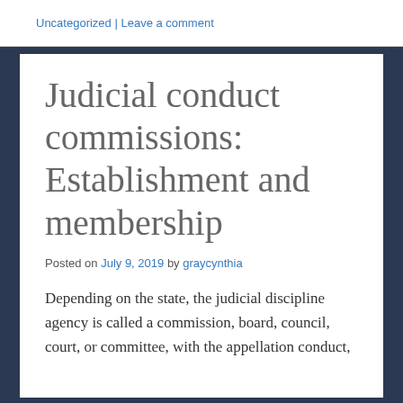Uncategorized | Leave a comment
Judicial conduct commissions: Establishment and membership
Posted on July 9, 2019 by graycynthia
Depending on the state, the judicial discipline agency is called a commission, board, council, court, or committee, with the appellation conduct,